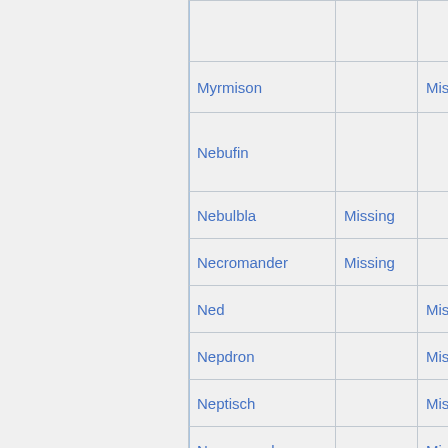| Name | Col2 | Col3 |
| --- | --- | --- |
|  |  |  |
| Myrmison |  | Missing |
| Nebufin |  |  |
| Nebulbla | Missing |  |
| Necromander | Missing |  |
| Ned |  | Missing |
| Nepdron |  | Missing |
| Neptisch |  | Missing |
| Nepungandr |  | Missing |
| Nimbulex | Missing |  |
| Ninjasmine |  | Missing |
|  |  |  |